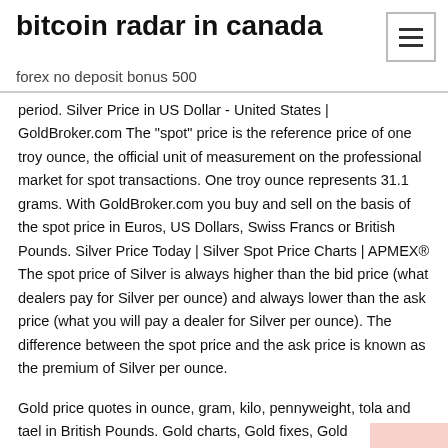bitcoin radar in canada
forex no deposit bonus 500
period. Silver Price in US Dollar - United States | GoldBroker.com The "spot" price is the reference price of one troy ounce, the official unit of measurement on the professional market for spot transactions. One troy ounce represents 31.1 grams. With GoldBroker.com you buy and sell on the basis of the spot price in Euros, US Dollars, Swiss Francs or British Pounds. Silver Price Today | Silver Spot Price Charts | APMEX® The spot price of Silver is always higher than the bid price (what dealers pay for Silver per ounce) and always lower than the ask price (what you will pay a dealer for Silver per ounce). The difference between the spot price and the ask price is known as the premium of Silver per ounce.
Gold price quotes in ounce, gram, kilo, pennyweight, tola and tael in British Pounds. Gold charts, Gold fixes, Gold performance and ratios. Gold price guide. Live USD Gold Price Charts & Historical Data | APMEX® The spot price fluctuates